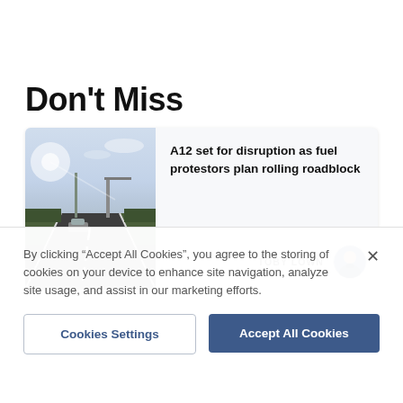Don't Miss
[Figure (photo): Road scene on the A12 motorway showing cars driving on a multi-lane road with overhead gantry signs, taken from a roadside camera angle with sky and infrastructure visible.]
A12 set for disruption as fuel protestors plan rolling roadblock
TOBY LOWN
By clicking “Accept All Cookies”, you agree to the storing of cookies on your device to enhance site navigation, analyze site usage, and assist in our marketing efforts.
Cookies Settings
Accept All Cookies